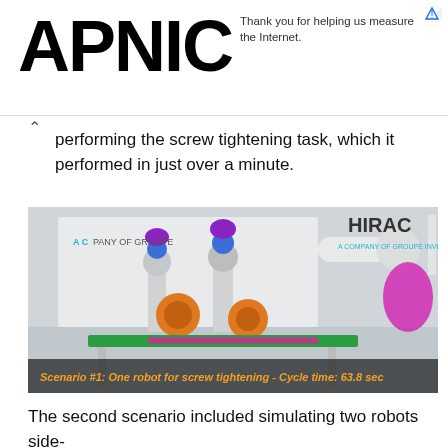APNIC
Thank you for helping us measure the Internet.
performing the screw tightening task, which it performed in just over a minute.
[Figure (photo): 3D simulation rendering showing robotic arms performing a screw tightening task on an assembly line. The robots have blue and purple mechanical components. A banner in the background reads 'HIRAC - A COMPANY OF GROUPE INVI'. The image has an overlay caption at the bottom.]
Scenario #1: One robot for screw tightening - Cycle time: 63.8 sec
The second scenario included simulating two robots side-